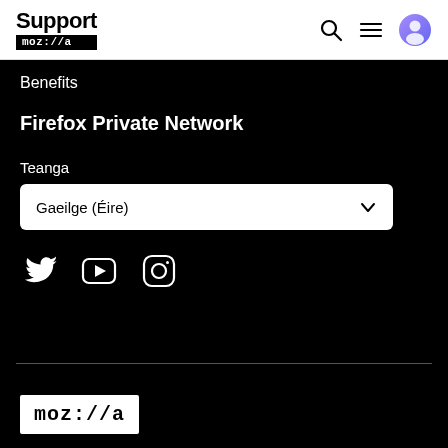Support moz://a
Benefits
Firefox Private Network
Teanga
Gaeilge (Éire)
[Figure (logo): Social media icons: Twitter, YouTube, Instagram]
[Figure (logo): Mozilla moz://a logo in white box]